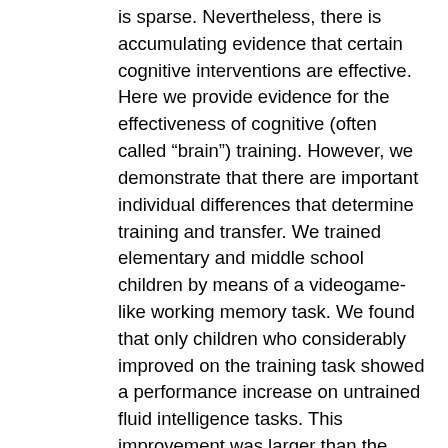is sparse. Nevertheless, there is accumulating evidence that certain cognitive interventions are effective. Here we provide evidence for the effectiveness of cognitive (often called “brain”) training. However, we demonstrate that there are important individual differences that determine training and transfer. We trained elementary and middle school children by means of a videogame-like working memory task. We found that only children who considerably improved on the training task showed a performance increase on untrained fluid intelligence tasks. This improvement was larger than the improvement of a control group who trained on a knowledge-based task that did not engage working memory; further, this differential pattern remained intact even after a 3-mo hiatus from training. We conclude that cognitive training can be effective and long-lasting, but that there are limiting factors that must be considered to evaluate the effects of this training, one of which is individual differences in training performance. We propose that future